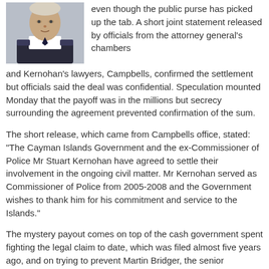[Figure (photo): Headshot of a man in a police uniform with epaulettes, grey/white background]
even though the public purse has picked up the tab. A short joint statement released by officials from the attorney general's chambers and Kernohan's lawyers, Campbells, confirmed the settlement but officials said the deal was confidential. Speculation mounted Monday that the payoff was in the millions but secrecy surrounding the agreement prevented confirmation of the sum.
The short release, which came from Campbells office, stated: "The Cayman Islands Government and the ex-Commissioner of Police Mr Stuart Kernohan have agreed to settle their involvement in the ongoing civil matter. Mr Kernohan served as Commissioner of Police from 2005-2008 and the Government wishes to thank him for his commitment and service to the Islands."
The mystery payout comes on top of the cash government spent fighting the legal claim to date, which was filed almost five years ago, and on trying to prevent Martin Bridger, the senior investigating officer on the ill-fated Tempura probe, from using material he acquired in the wake of the enquiry to fight the claim Kernohan had made against him as well.
It also adds to the growing costs of the overall Operation Tempura tab, which has been footed by the public purse and has included a $1.275 million claim paid to Grand Court judge, Justice Alex Henderson, a pay-off to Rudy Dixon, the former deputy police commissioner, who was caught up